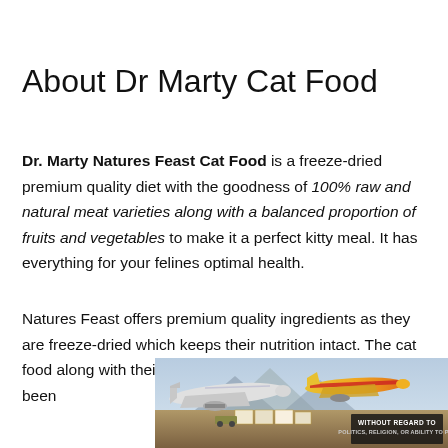About Dr Marty Cat Food
Dr. Marty Natures Feast Cat Food is a freeze-dried premium quality diet with the goodness of 100% raw and natural meat varieties along with a balanced proportion of fruits and vegetables to make it a perfect kitty meal. It has everything for your felines optimal health.
Natures Feast offers premium quality ingredients as they are freeze-dried which keeps their nutrition intact. The cat food along with their other limited range of products has been
[Figure (photo): A photo of cargo airplanes being loaded with freight, with mountains in the background. An overlay badge reads 'WITHOUT REGARD TO POLITICS, RELIGION, OR ABILITY TO PAY'.]